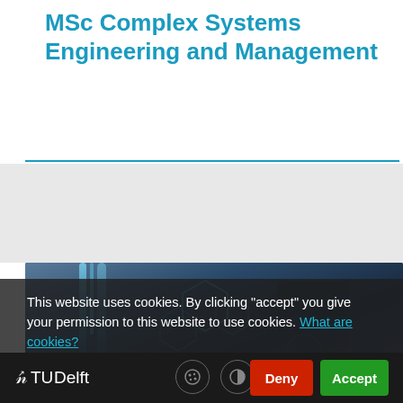MSc Complex Systems Engineering and Management
[Figure (photo): Dark-themed technical/engineering background photo with hexagonal network overlay graphic, showing circuit board or industrial equipment imagery]
This website uses cookies. By clicking "accept" you give your permission to this website to use cookies. What are cookies?
[Figure (logo): TU Delft logo in white on dark bar, with cookie settings icons and Deny/Accept buttons]